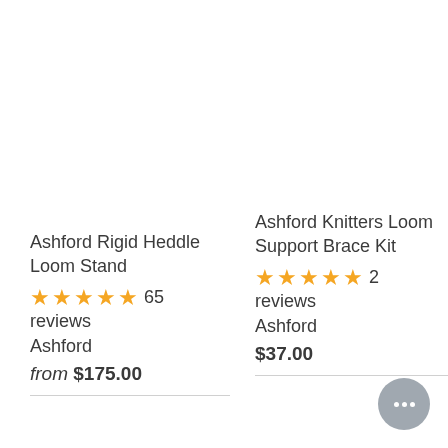Ashford Rigid Heddle Loom Stand
★★★★★ 65 reviews
Ashford
from $175.00
Ashford Knitters Loom Support Brace Kit
★★★★★ 2 reviews
Ashford
$37.00